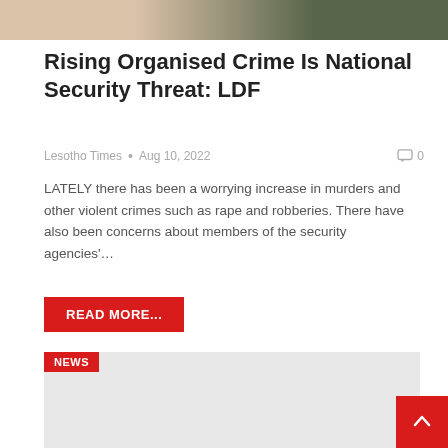[Figure (photo): Partial image at the top of the page showing people, including someone with a gold necklace and someone in dark/military clothing]
Rising Organised Crime Is National Security Threat: LDF
Lesotho Times • Aug 10, 2022  0
LATELY there has been a worrying increase in murders and other violent crimes such as rape and robberies. There have also been concerns about members of the security agencies'…
READ MORE...
NEWS
[Figure (other): Light gray placeholder image area below the NEWS badge]